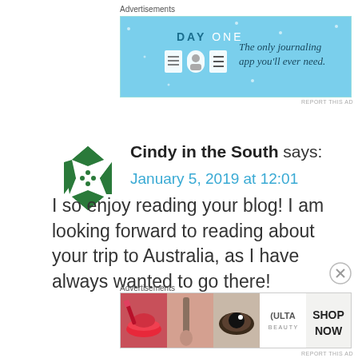Advertisements
[Figure (screenshot): DayOne journaling app advertisement banner with blue background: DAY ONE logo and text 'The only journaling app you'll ever need.']
REPORT THIS AD
[Figure (logo): Green diamond/star shaped avatar icon for Cindy in the South]
Cindy in the South says:
January 5, 2019 at 12:01
I so enjoy reading your blog! I am looking forward to reading about your trip to Australia, as I have always wanted to go there!
Advertisements
[Figure (screenshot): ULTA Beauty advertisement banner showing makeup/beauty images with SHOP NOW button]